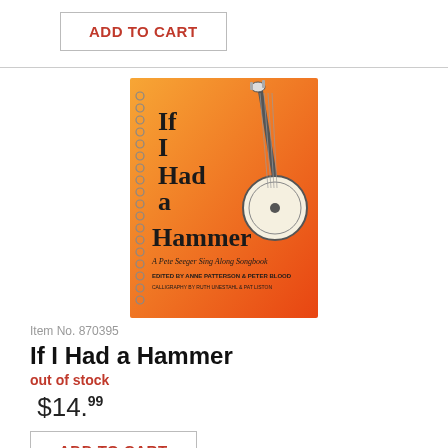ADD TO CART
[Figure (illustration): Book cover of 'If I Had a Hammer - A Pete Seeger Sing Along Songbook', spiral-bound with orange gradient background and a banjo illustration. Text reads: If I Had a Hammer, A Pete Seeger Sing Along Songbook, Edited by Anne Patterson & Peter Blood, Calligraphy by Ruth Unestahl & Pat Liston]
Item No. 870395
If I Had a Hammer
out of stock
$14.99
ADD TO CART